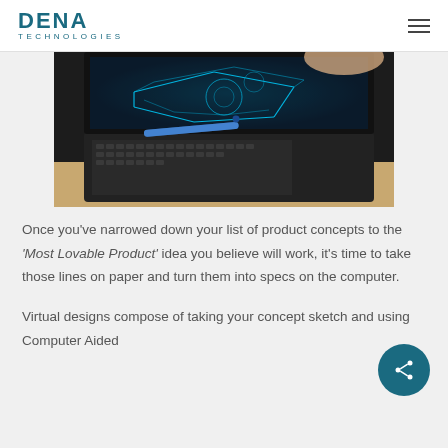DENA TECHNOLOGIES
[Figure (photo): A person using a stylus pen on a laptop displaying a blue glowing CAD/engineering design diagram of a mechanical component]
Once you’ve narrowed down your list of product concepts to the ‘Most Lovable Product’ idea you believe will work, it’s time to take those lines on paper and turn them into specs on the computer.
Virtual designs compose of taking your concept sketch and using Computer Aided